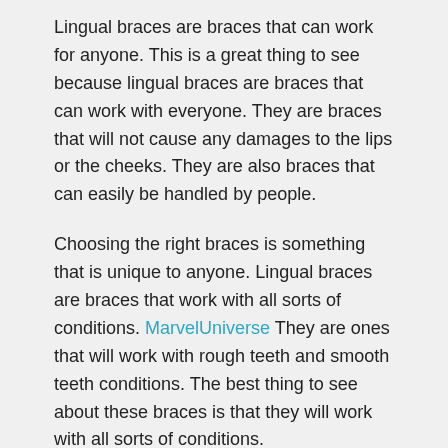Lingual braces are braces that can work for anyone. This is a great thing to see because lingual braces are braces that can work with everyone. They are braces that will not cause any damages to the lips or the cheeks. They are also braces that can easily be handled by people.
Choosing the right braces is something that is unique to anyone. Lingual braces are braces that work with all sorts of conditions. MarvelUniverse They are ones that will work with rough teeth and smooth teeth conditions. The best thing to see about these braces is that they will work with all sorts of conditions.
These braces can work with rough teeth too. What happens here is that the braces will be behind the teeth and it will be the front teeth that will be working with the braces. The front teeth will not be impacted by the aligners and will not be cut by them.
The individual is going to be able to work with a good amount of...